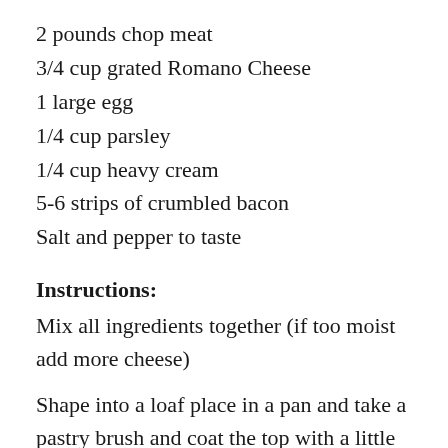2 pounds chop meat
3/4 cup grated Romano Cheese
1 large egg
1/4 cup parsley
1/4 cup heavy cream
5-6 strips of crumbled bacon
Salt and pepper to taste
Instructions:
Mix all ingredients together (if too moist add more cheese)
Shape into a loaf place in a pan and take a pastry brush and coat the top with a little tomato sauce